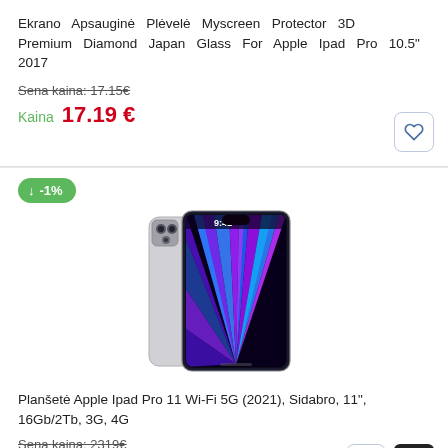Ekrano Apsauginė Plėvelė Myscreen Protector 3D Premium Diamond Japan Glass For Apple Ipad Pro 10.5" 2017
Sena kaina: 17.15€
Kaina  17.19 €
[Figure (photo): Apple iPad Pro 11 tablet product photo showing front and back, with colorful display]
↓ -1%
Planšetė Apple Ipad Pro 11 Wi-Fi 5G (2021), Sidabro, 11", 16Gb/2Tb, 3G, 4G
Sena kaina: 2319€
Kaina  2299 €